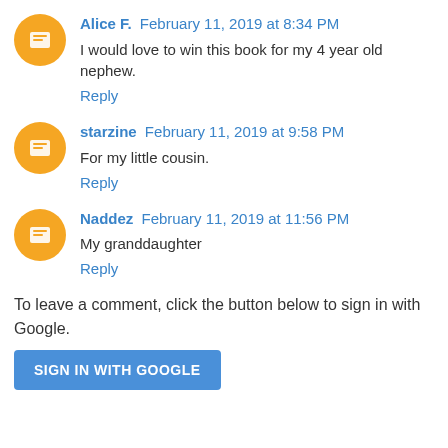Alice F.  February 11, 2019 at 8:34 PM
I would love to win this book for my 4 year old nephew.
Reply
starzine  February 11, 2019 at 9:58 PM
For my little cousin.
Reply
Naddez  February 11, 2019 at 11:56 PM
My granddaughter
Reply
To leave a comment, click the button below to sign in with Google.
SIGN IN WITH GOOGLE